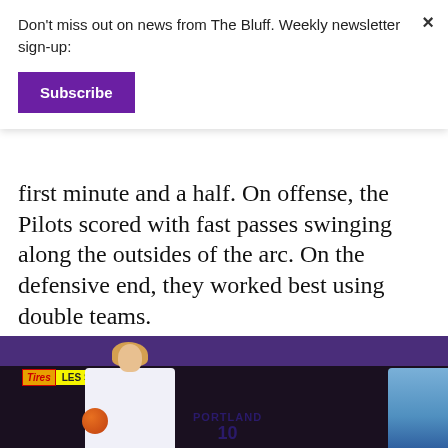Don't miss out on news from The Bluff. Weekly newsletter sign-up:
Subscribe
first minute and a half. On offense, the Pilots scored with fast passes swinging along the outsides of the arc. On the defensive end, they worked best using double teams.
[Figure (photo): A Portland Pilots women's basketball player wearing jersey number 10 dribbles a basketball in an indoor court with purple walls and a Les Schwab Tires sign visible in the background.]